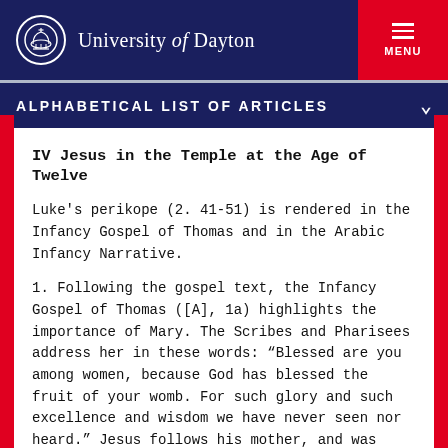University of Dayton
ALPHABETICAL LIST OF ARTICLES
IV Jesus in the Temple at the Age of Twelve
Luke's perikope (2. 41-51) is rendered in the Infancy Gospel of Thomas and in the Arabic Infancy Narrative.
1. Following the gospel text, the Infancy Gospel of Thomas ([A], 1a) highlights the importance of Mary. The Scribes and Pharisees address her in these words: “Blessed are you among women, because God has blessed the fruit of your womb. For such glory and such excellence and wisdom we have never seen nor heard.” Jesus follows his mother, and was subject to his parents. The